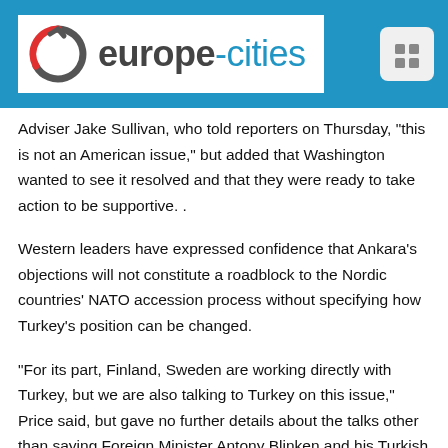europe-cities
Adviser Jake Sullivan, who told reporters on Thursday, "this is not an American issue," but added that Washington wanted to see it resolved and that they were ready to take action to be supportive. .
Western leaders have expressed confidence that Ankara's objections will not constitute a roadblock to the Nordic countries' NATO accession process without specifying how Turkey's position can be changed.
"For its part, Finland, Sweden are working directly with Turkey, but we are also talking to Turkey on this issue," Price said, but gave no further details about the talks other than saying Foreign Minister Antony Blinken and his Turkish counterpart Meylut Cavusoglu had held a ," good, constructive